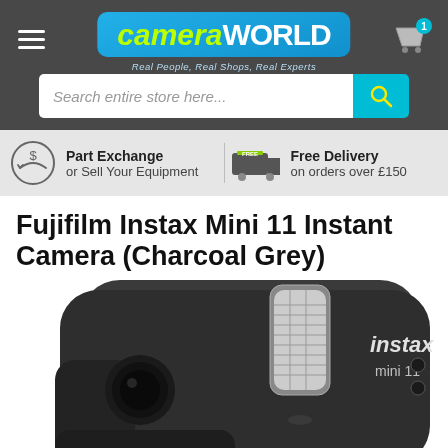cameraWORLD — Real People, Real Shops, Real Experts
Search entire store here...
Part Exchange or Sell Your Equipment
Free Delivery on orders over £150
Fujifilm Instax Mini 11 Instant Camera (Charcoal Grey)
[Figure (photo): Close-up top view of a Fujifilm Instax Mini 11 instant camera in Charcoal Grey color, showing the flash unit, lens, and 'instax mini 11' branding on the body.]